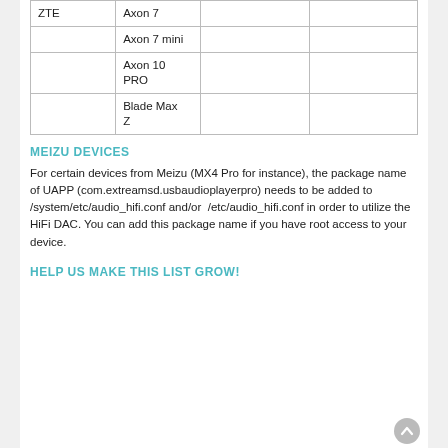| ZTE | Axon 7 |  |  |
|  | Axon 7 mini |  |  |
|  | Axon 10 PRO |  |  |
|  | Blade Max Z |  |  |
MEIZU DEVICES
For certain devices from Meizu (MX4 Pro for instance), the package name of UAPP (com.extreamsd.usbaudioplayerpro) needs to be added to /system/etc/audio_hifi.conf and/or  /etc/audio_hifi.conf in order to utilize the HiFi DAC. You can add this package name if you have root access to your device.
HELP US MAKE THIS LIST GROW!